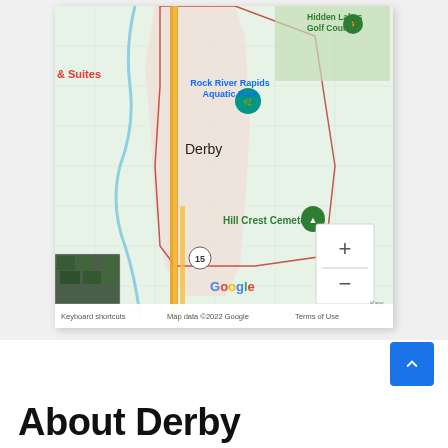[Figure (map): Google Maps showing Derby, Kansas area with Rock River Rapids Aquatic Park, Hill Crest Cemetery, Hidden Lakes Golf Course markers. A red boundary polygon outlines Derby. Yellow/orange roads run vertically. Arkansas River shown. Zoom controls (+/-) visible. Street map view with satellite thumbnail in bottom-left corner. Footer shows: Keyboard shortcuts | Map data ©2022 Google | Terms of Use]
About Derby